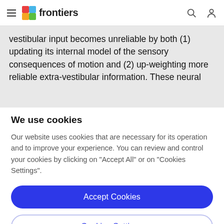frontiers
vestibular input becomes unreliable by both (1) updating its internal model of the sensory consequences of motion and (2) up-weighting more reliable extra-vestibular information. These neural
We use cookies
Our website uses cookies that are necessary for its operation and to improve your experience. You can review and control your cookies by clicking on "Accept All" or on "Cookies Settings".
Accept Cookies
Cookies Settings